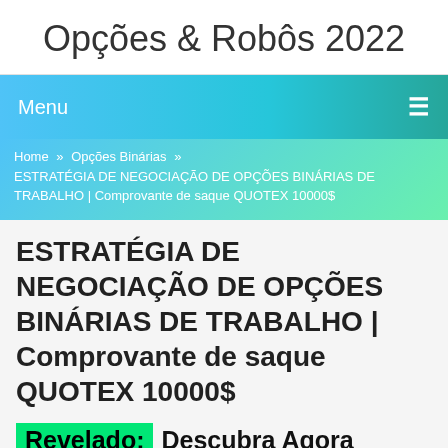Opções & Robôs 2022
Menu ☰
Home » Opções Binárias » ESTRATÉGIA DE NEGOCIAÇÃO DE OPÇÕES BINÁRIAS DE TRABALHO | Comprovante de saque QUOTEX 10000$
ESTRATÉGIA DE NEGOCIAÇÃO DE OPÇÕES BINÁRIAS DE TRABALHO | Comprovante de saque QUOTEX 10000$
Revelado: Descubra Agora